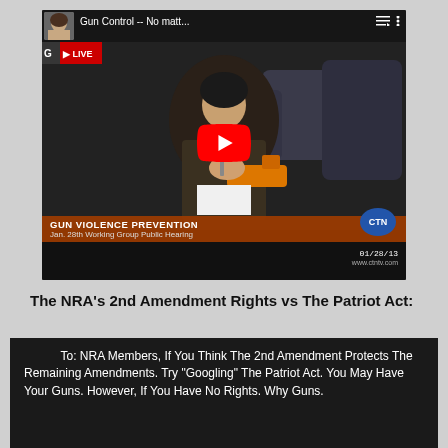[Figure (screenshot): YouTube video thumbnail showing 'Gun Control -- No matt...' with a woman at a public hearing holding an orange object. Lower-third text reads 'GUN VIOLENCE PREVENTION / Jan. 28th Working Group Public Hearing' with CTN logo and date 01/28/13. Red YouTube play button overlay visible.]
The NRA's 2nd Amendment Rights vs The Patriot Act:
To: NRA Members, If You Think The 2nd Amendment Protects The Remaining Amendments. Try "Googling" The Patriot Act. You May Have Your Guns. However, If You Have No Rights. Why Guns.